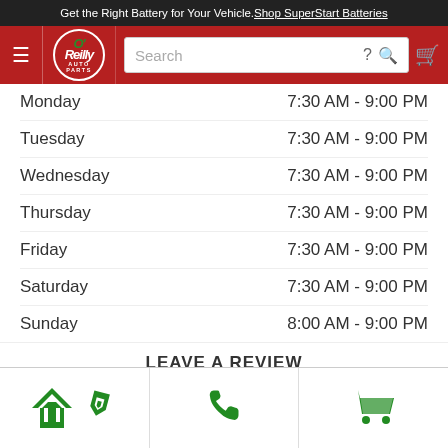Get the Right Battery for Your Vehicle. Shop SuperStart Batteries
[Figure (logo): O'Reilly Auto Parts logo with hamburger menu and search bar]
| Day | Hours |
| --- | --- |
| Monday | 7:30 AM - 9:00 PM |
| Tuesday | 7:30 AM - 9:00 PM |
| Wednesday | 7:30 AM - 9:00 PM |
| Thursday | 7:30 AM - 9:00 PM |
| Friday | 7:30 AM - 9:00 PM |
| Saturday | 7:30 AM - 9:00 PM |
| Sunday | 8:00 AM - 9:00 PM |
LEAVE A REVIEW
[Figure (other): Five green star rating icons]
[Figure (other): Bottom navigation bar with directions, phone, and cart icons]